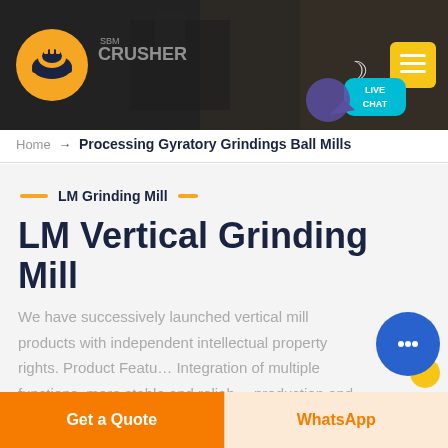[Figure (screenshot): Website header banner showing a mining/crusher industrial background image with dark overlay. Contains an orange/yellow logo on the left, a crescent moon icon and yellow menu button on the right. A teal 'LIVE CHAT' speech bubble appears at the bottom right of the banner.]
Home → Processing Gyratory Grindings Ball Mills
LM Grinding Mill
LM Vertical Grinding Mill
We have successively launched vertical mill products with independent intellectual property rights. Product Features: Integration of multiple functions, more stable and reliable production and more excellent capacity.